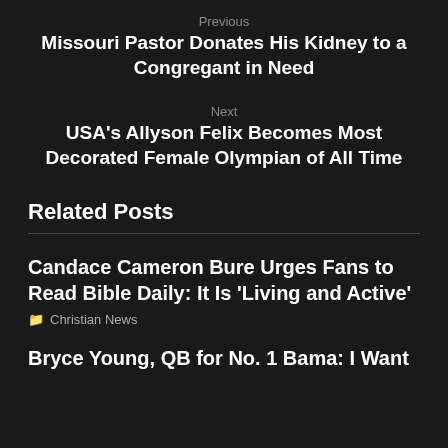Previous
Missouri Pastor Donates His Kidney to a Congregant in Need
Next
USA's Allyson Felix Becomes Most Decorated Female Olympian of All Time
Related Posts
Candace Cameron Bure Urges Fans to Read Bible Daily: It Is 'Living and Active'
Christian News
Bryce Young, QB for No. 1 Bama: I Want